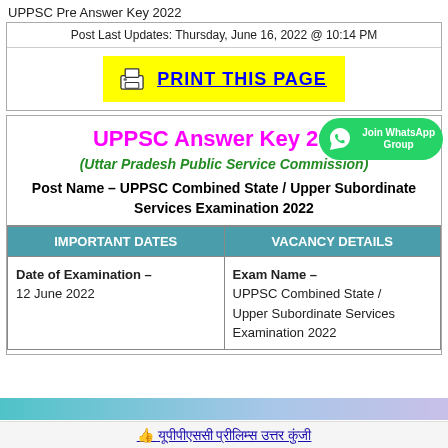UPPSC Pre Answer Key 2022
Post Last Updates: Thursday, June 16, 2022 @ 10:14 PM
[Figure (other): PRINT THIS PAGE button with printer icon on yellow background]
UPPSC Answer Key 2022
(Uttar Pradesh Public Service Commission)
Post Name – UPPSC Combined State / Upper Subordinate Services Examination 2022
| IMPORTANT DATES | VACANCY DETAILS |
| --- | --- |
| Date of Examination – 12 June 2022 | Exam Name – UPPSC Combined State / Upper Subordinate Services Examination 2022 |
👍 यूपीपीएससी प्रीलिम्स उत्तर कुंजी